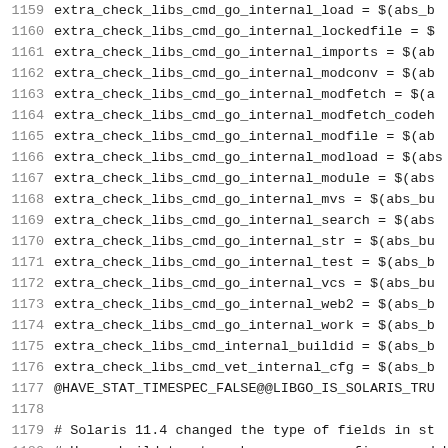1159    extra_check_libs_cmd_go_internal_load = $(abs_b
1160    extra_check_libs_cmd_go_internal_lockedfile = $
1161    extra_check_libs_cmd_go_internal_imports = $(ab
1162    extra_check_libs_cmd_go_internal_modconv = $(ab
1163    extra_check_libs_cmd_go_internal_modfetch = $(a
1164    extra_check_libs_cmd_go_internal_modfetch_codeh
1165    extra_check_libs_cmd_go_internal_modfile = $(ab
1166    extra_check_libs_cmd_go_internal_modload = $(abs
1167    extra_check_libs_cmd_go_internal_module = $(abs
1168    extra_check_libs_cmd_go_internal_mvs = $(abs_bu
1169    extra_check_libs_cmd_go_internal_search = $(abs
1170    extra_check_libs_cmd_go_internal_str = $(abs_bu
1171    extra_check_libs_cmd_go_internal_test = $(abs_b
1172    extra_check_libs_cmd_go_internal_vcs = $(abs_bu
1173    extra_check_libs_cmd_go_internal_web2 = $(abs_b
1174    extra_check_libs_cmd_go_internal_work = $(abs_b
1175    extra_check_libs_cmd_internal_buildid = $(abs_b
1176    extra_check_libs_cmd_vet_internal_cfg = $(abs_b
1177    @HAVE_STAT_TIMESPEC_FALSE@@LIBGO_IS_SOLARIS_TRU
1178
1179    # Solaris 11.4 changed the type of fields in st
1180    # Use a build tag to make sure we configure and b